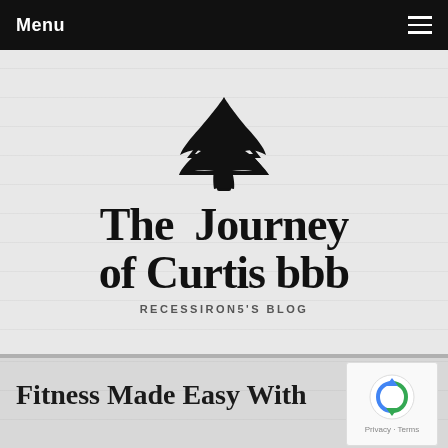Menu
[Figure (logo): Pine tree illustration used as blog logo icon above the title text]
The Journey of Curtis bbb
RECESSIRON5'S BLOG
Fitness Made Easy With